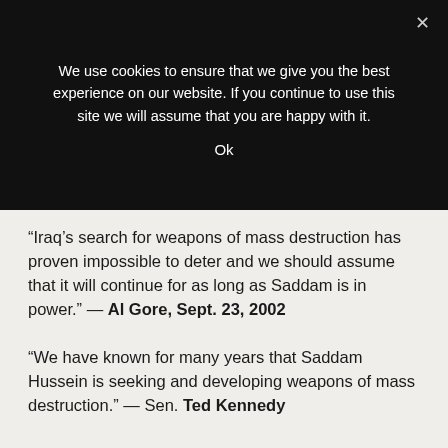We use cookies to ensure that we give you the best experience on our website. If you continue to use this site we will assume that you are happy with it.
Ok
“Iraq’s search for weapons of mass destruction has proven impossible to deter and we should assume that it will continue for as long as Saddam is in power.” — Al Gore, Sept. 23, 2002
“We have known for many years that Saddam Hussein is seeking and developing weapons of mass destruction.” — Sen. Ted Kennedy